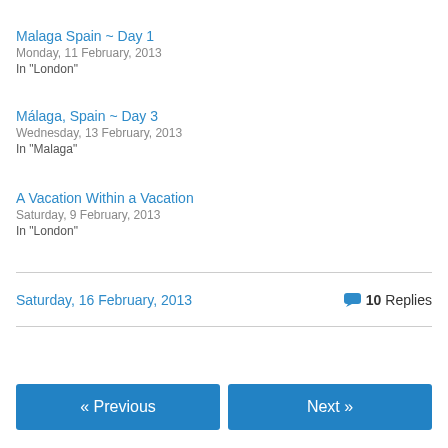Malaga Spain ~ Day 1
Monday, 11 February, 2013
In "London"
Málaga, Spain ~ Day 3
Wednesday, 13 February, 2013
In "Malaga"
A Vacation Within a Vacation
Saturday, 9 February, 2013
In "London"
Saturday, 16 February, 2013    10 Replies
« Previous    Next »